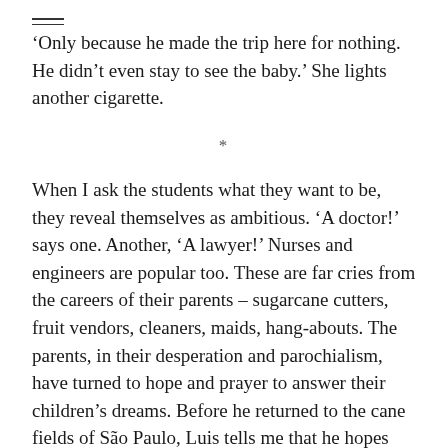'Only because he made the trip here for nothing. He didn't even stay to see the baby.' She lights another cigarette.
*
When I ask the students what they want to be, they reveal themselves as ambitious. 'A doctor!' says one. Another, 'A lawyer!' Nurses and engineers are popular too. These are far cries from the careers of their parents – sugarcane cutters, fruit vendors, cleaners, maids, hang-abouts. The parents, in their desperation and parochialism, have turned to hope and prayer to answer their children's dreams. Before he returned to the cane fields of São Paulo, Luis tells me that he hopes God will provide the future of his children. 'Graças a deus,' he says. 'They will have a better life than me.' He adds 'Maybe he'll play